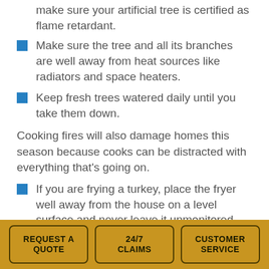make sure your artificial tree is certified as flame retardant.
Make sure the tree and all its branches are well away from heat sources like radiators and space heaters.
Keep fresh trees watered daily until you take them down.
Cooking fires will also damage homes this season because cooks can be distracted with everything that's going on.
If you are frying a turkey, place the fryer well away from the house on a level surface and never leave it unmonitored. Get good safety directions and follow them to the letter. Keep children away from the cooker. Keep a multi-purpose fire extinguisher close by.
In the house, keep your range top clear of flammable
REQUEST A QUOTE | 24/7 CLAIMS | CUSTOMER SERVICE